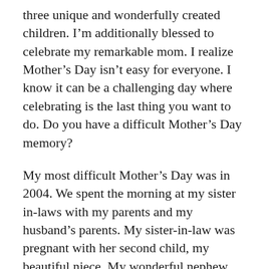three unique and wonderfully created children. I’m additionally blessed to celebrate my remarkable mom. I realize Mother’s Day isn’t easy for everyone. I know it can be a challenging day where celebrating is the last thing you want to do. Do you have a difficult Mother’s Day memory?
My most difficult Mother’s Day was in 2004. We spent the morning at my sister in-laws with my parents and my husband’s parents. My sister-in-law was pregnant with her second child, my beautiful niece. My wonderful nephew was 9-months-old at the time. I remember offering to cook breakfast, I think I took over her kitchen. After all I was the only one who